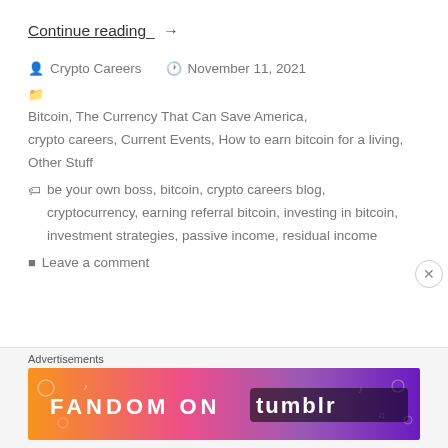Continue reading →
👤 Crypto Careers  🕐 November 11, 2021
📁 Bitcoin, The Currency That Can Save America, crypto careers, Current Events, How to earn bitcoin for a living, Other Stuff
🏷️ be your own boss, bitcoin, crypto careers blog, cryptocurrency, earning referral bitcoin, investing in bitcoin, investment strategies, passive income, residual income
💬 Leave a comment
Advertisements
[Figure (other): Fandom on Tumblr advertisement banner with orange to purple gradient background and white text]